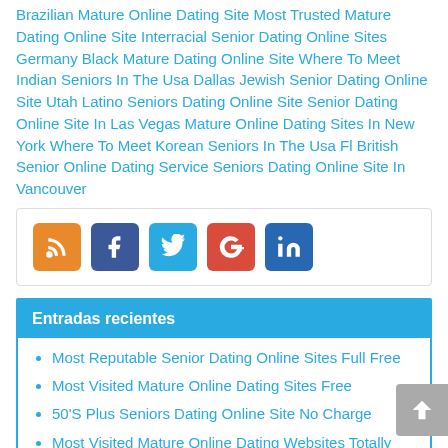Brazilian Mature Online Dating Site Most Trusted Mature Dating Online Site Interracial Senior Dating Online Sites Germany Black Mature Dating Online Site Where To Meet Indian Seniors In The Usa Dallas Jewish Senior Dating Online Site Utah Latino Seniors Dating Online Site Senior Dating Online Site In Las Vegas Mature Online Dating Sites In New York Where To Meet Korean Seniors In The Usa Fl British Senior Online Dating Service Seniors Dating Online Site In Vancouver
[Figure (infographic): Social sharing icons: RSS (orange), Facebook (blue), Twitter (light blue), Google+ (red), LinkedIn (blue)]
Entradas recientes
Most Reputable Senior Dating Online Sites Full Free
Most Visited Mature Online Dating Sites Free
50'S Plus Seniors Dating Online Site No Charge
Most Visited Mature Online Dating Websites Totally